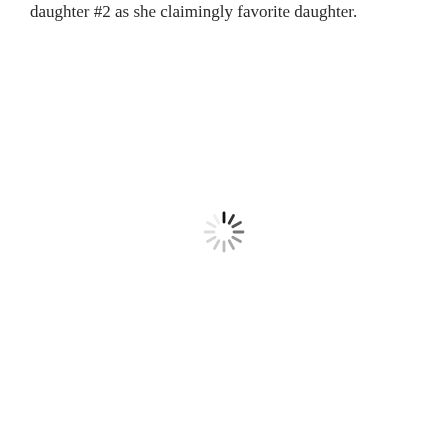daughter #2 as she claimingly favorite daughter.
[Figure (other): A loading spinner icon (radial spokes in a circular arrangement) centered on the lower portion of the page.]